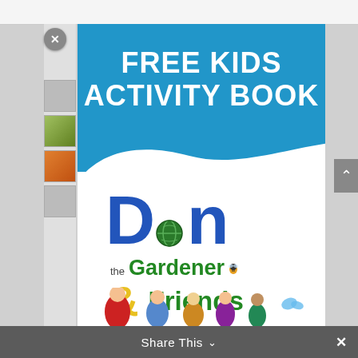[Figure (illustration): Screenshot of a webpage showing a modal/lightbox overlay with an X close button in the top-left. The main content is a book cover for 'Free Kids Activity Book - Dan the Gardener & Friends'. The book cover has a blue top section with large white text reading 'FREE KIDS ACTIVITY BOOK', a brush-stroke wave dividing blue and white sections, and a stylized logo of 'Dan the Gardener & Friends' with a globe in the letter D, green text for 'the Gardener & Friends', and yellow ampersand. Character illustrations appear at the bottom. A dark share toolbar with 'Share This' is at the bottom of the screen.]
Share This
Share This